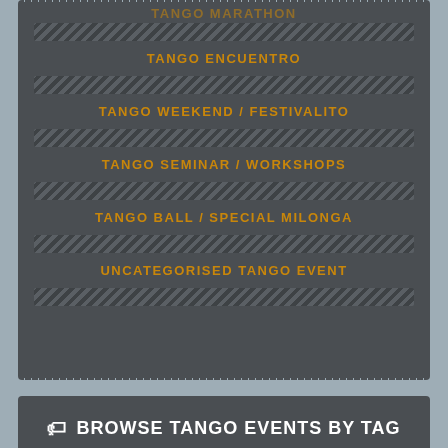TANGO MARATHON
TANGO ENCUENTRO
TANGO WEEKEND / FESTIVALITO
TANGO SEMINAR / WORKSHOPS
TANGO BALL / SPECIAL MILONGA
UNCATEGORISED TANGO EVENT
BROWSE TANGO EVENTS BY TAG